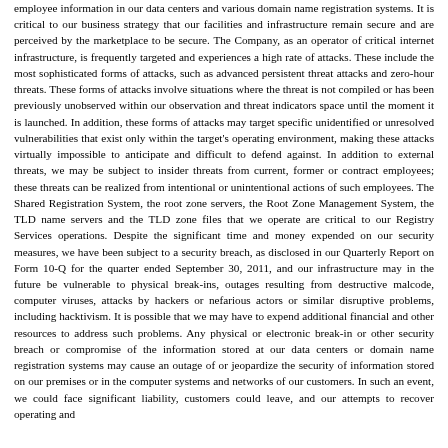employee information in our data centers and various domain name registration systems. It is critical to our business strategy that our facilities and infrastructure remain secure and are perceived by the marketplace to be secure. The Company, as an operator of critical internet infrastructure, is frequently targeted and experiences a high rate of attacks. These include the most sophisticated forms of attacks, such as advanced persistent threat attacks and zero-hour threats. These forms of attacks involve situations where the threat is not compiled or has been previously unobserved within our observation and threat indicators space until the moment it is launched. In addition, these forms of attacks may target specific unidentified or unresolved vulnerabilities that exist only within the target's operating environment, making these attacks virtually impossible to anticipate and difficult to defend against. In addition to external threats, we may be subject to insider threats from current, former or contract employees; these threats can be realized from intentional or unintentional actions of such employees. The Shared Registration System, the root zone servers, the Root Zone Management System, the TLD name servers and the TLD zone files that we operate are critical to our Registry Services operations. Despite the significant time and money expended on our security measures, we have been subject to a security breach, as disclosed in our Quarterly Report on Form 10-Q for the quarter ended September 30, 2011, and our infrastructure may in the future be vulnerable to physical break-ins, outages resulting from destructive malcode, computer viruses, attacks by hackers or nefarious actors or similar disruptive problems, including hacktivism. It is possible that we may have to expend additional financial and other resources to address such problems. Any physical or electronic break-in or other security breach or compromise of the information stored at our data centers or domain name registration systems may cause an outage of or jeopardize the security of information stored on our premises or in the computer systems and networks of our customers. In such an event, we could face significant liability, customers could leave, and our attempts to recover operating and